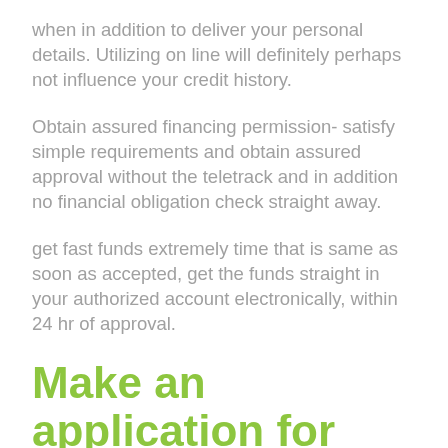when in addition to deliver your personal details. Utilizing on line will definitely perhaps not influence your credit history.
Obtain assured financing permission- satisfy simple requirements and obtain assured approval without the teletrack and in addition no financial obligation check straight away.
get fast funds extremely time that is same as soon as accepted, get the funds straight in your authorized account electronically, within 24 hr of approval.
Make an application for Effortless And